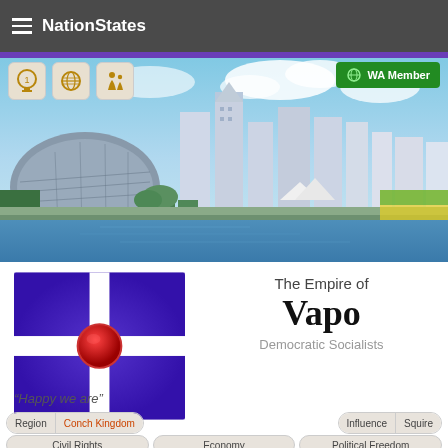NationStates
[Figure (screenshot): City skyline banner photo showing Singapore-like waterfront with modern skyscrapers, dome-shaped theater, blue sky with clouds, and waterway in foreground. Three icon badges (medal, globe, family) in top-left, WA Member badge in top-right.]
[Figure (photo): Purple flag with white cross and red wax seal in center]
The Empire of Vapo
Democratic Socialists
“Happy we are” — The true Vapo
| Region | Value | Influence | Value2 |
| --- | --- | --- | --- |
| Region | Conch Kingdom | Influence | Squire |
Civil Rights | Economy | Political Freedom